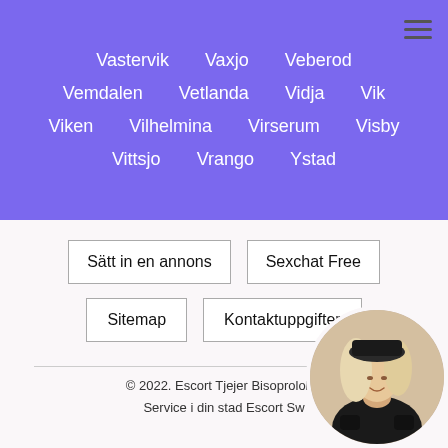Vastervik
Vaxjo
Veberod
Vemdalen
Vetlanda
Vidja
Vik
Viken
Vilhelmina
Virserum
Visby
Vittsjo
Vrango
Ystad
Sätt in en annons
Sexchat Free
Sitemap
Kontaktuppgifter
© 2022. Escort Tjejer Bisoprololka Service i din stad Escort Sw
[Figure (photo): Circular avatar photo of a woman with blonde wavy hair wearing a black outfit, positioned at the bottom right corner]